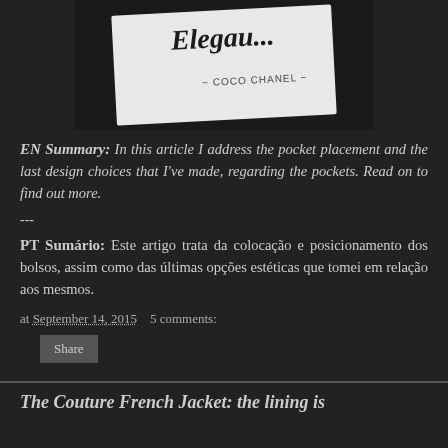[Figure (photo): A white card or book with decorative script text 'Elegan...' and '- COCO CHANEL -' printed on it, on a dark background.]
EN Summary: In this article I address the pocket placement and the last design choices that I've made, regarding the pockets. Read on to find out more.
---
PT Sumário: Este artigo trata da colocação e posicionamento dos bolsos, assim como das últimas opções estéticas que tomei em relação aos mesmos.
at September 14, 2015   5 comments:
Share
The Couture French Jacket: the lining is